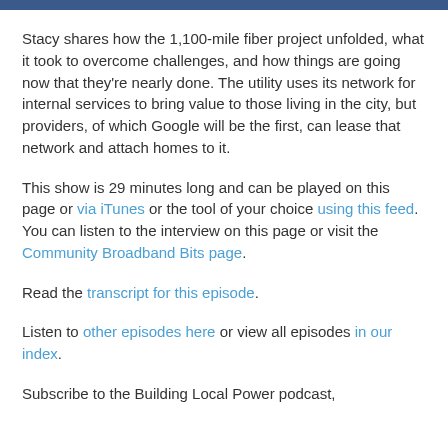Stacy shares how the 1,100-mile fiber project unfolded, what it took to overcome challenges, and how things are going now that they’re nearly done. The utility uses its network for internal services to bring value to those living in the city, but providers, of which Google will be the first, can lease that network and attach homes to it.
This show is 29 minutes long and can be played on this page or via iTunes or the tool of your choice using this feed. You can listen to the interview on this page or visit the Community Broadband Bits page.
Read the transcript for this episode.
Listen to other episodes here or view all episodes in our index.
Subscribe to the Building Local Power podcast,